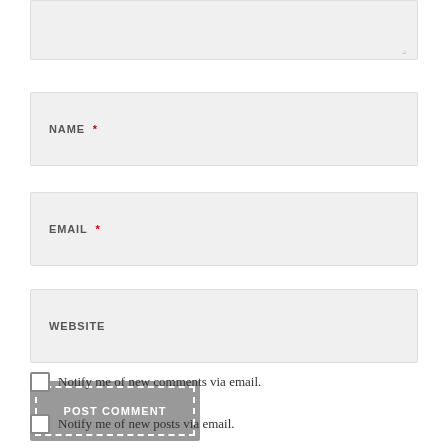[Figure (screenshot): Textarea input box (top portion visible) with resize handle at bottom right]
NAME *
EMAIL *
WEBSITE
POST COMMENT
Notify me of new comments via email.
Notify me of new posts via email.